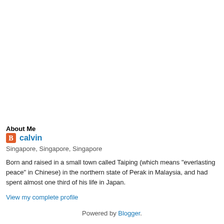About Me
calvin
Singapore, Singapore, Singapore
Born and raised in a small town called Taiping (which means "everlasting peace" in Chinese) in the northern state of Perak in Malaysia, and had spent almost one third of his life in Japan.
View my complete profile
Powered by Blogger.